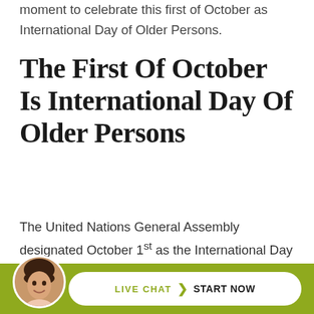moment to celebrate this first of October as International Day of Older Persons.
The First Of October Is International Day Of Older Persons
The United Nations General Assembly designated October 1st as the International Day of Older Persons. This designation was first established on December 14, 1990, as a means of following up on a number of initiatives, inc...